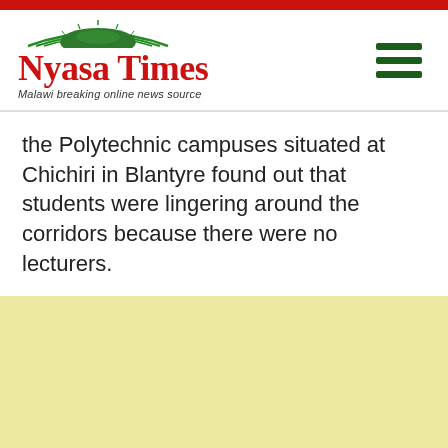Nyasa Times – Malawi breaking online news source
the Polytechnic campuses situated at Chichiri in Blantyre found out that students were lingering around the corridors because there were no lecturers.
[Figure (other): Light yellow advertisement/content area with a gray back-to-top button in the lower right.]